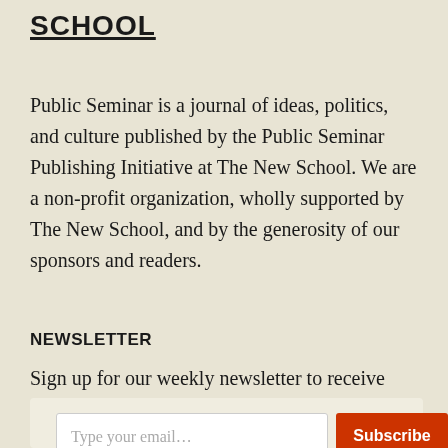SCHOOL
Public Seminar is a journal of ideas, politics, and culture published by the Public Seminar Publishing Initiative at The New School. We are a non-profit organization, wholly supported by The New School, and by the generosity of our sponsors and readers.
NEWSLETTER
Sign up for our weekly newsletter to receive selections from new issues of Public Seminar.